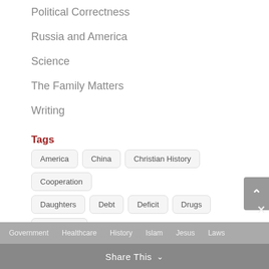Political Correctness
Russia and America
Science
The Family Matters
Writing
Tags
America
China
Christian History
Cooperation
Daughters
Debt
Deficit
Drugs
Economics
Employment
Europe
Evolution
Faith
Families
Fathers
Foreign Policy
Founding Fathers
Genders
Government  Healthcare  History  Islam  Jesus  Laws
Share This